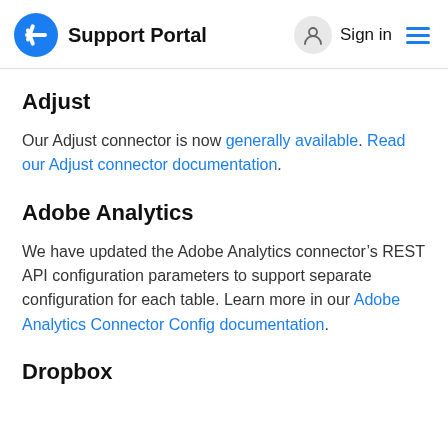Support Portal  Sign in
Adjust
Our Adjust connector is now generally available. Read our Adjust connector documentation.
Adobe Analytics
We have updated the Adobe Analytics connector’s REST API configuration parameters to support separate configuration for each table. Learn more in our Adobe Analytics Connector Config documentation.
Dropbox